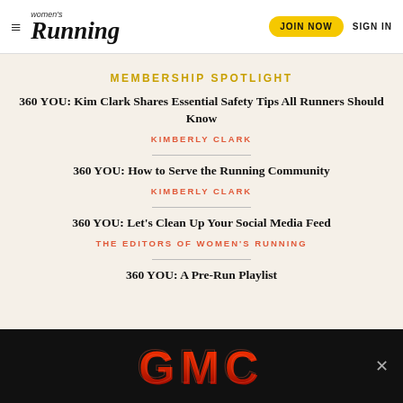Women's Running — JOIN NOW  SIGN IN
MEMBERSHIP SPOTLIGHT
360 YOU: Kim Clark Shares Essential Safety Tips All Runners Should Know
KIMBERLY CLARK
360 YOU: How to Serve the Running Community
KIMBERLY CLARK
360 YOU: Let's Clean Up Your Social Media Feed
THE EDITORS OF WOMEN'S RUNNING
360 YOU: A Pre-Run Playlist
[Figure (logo): GMC advertisement banner with red GMC logo on black background with close button]